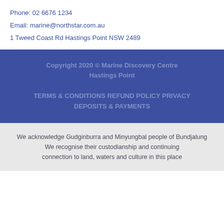Phone: 02 6676 1234
Email: marine@northstar.com.au
1 Tweed Coast Rd Hastings Point NSW 2489
Copyright 2020 © Marine Discovery Centre Hastings Point
TERMS & CONDITIONS REFUND POLICY PRIVACY DEPOSITS & PAYMENTS
We acknowledge Gudginburra and Minyungbal people of Bundjalung We recognise their custodianship and continuing connection to land, waters and culture in this place